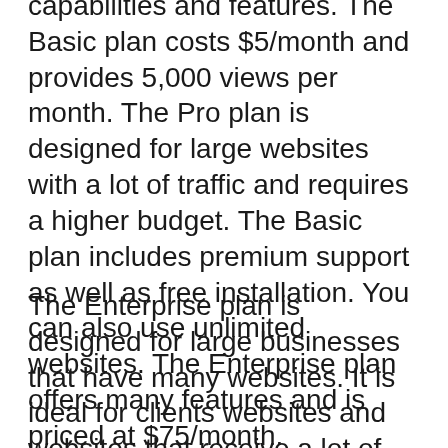capabilities and features. The Basic plan costs $5/month and provides 5,000 views per month. The Pro plan is designed for large websites with a lot of traffic and requires a higher budget. The Basic plan includes premium support as well as free installation. You can also use unlimited websites. The Enterprise plan offers many features and is priced at $75/month.
The Enterprise plan is designed for large businesses that have many websites. It is ideal for clients websites and websites that receive a lot of traffic. With this plan, you can add as many websites as you want and get free Elfsight installation. Elfsight has a long track record and offers competitive pricing. Whether you're starting your own business or want to build a better store,